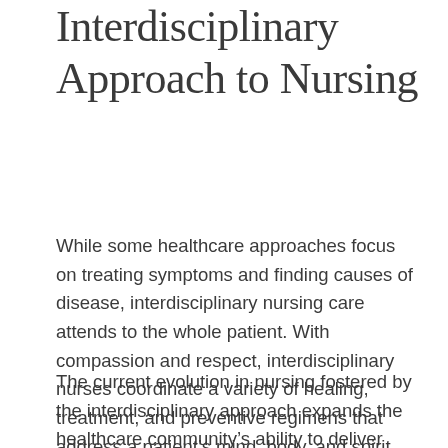Interdisciplinary Approach to Nursing
While some healthcare approaches focus on treating symptoms and finding causes of disease, interdisciplinary nursing care attends to the whole patient. With compassion and respect, interdisciplinary nurses coordinate a variety of healing, treatment, and preventive regimens that address a patient’s mind, body, and spirit.
The current evolution in nursing fostered by the interdisciplinary approach expands the healthcare community’s ability to deliver high-quality care. Discover how St. Catherine University’s nursing programs prepare graduates